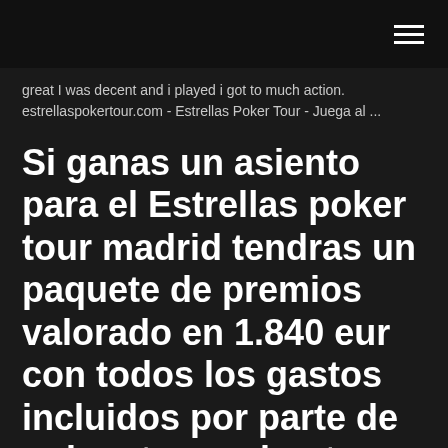great I was decent and i played i got to much action.
estrellaspokertour.com - Estrellas Poker Tour - Juega al ...
Si ganas un asiento para el Estrellas poker tour madrid tendras un paquete de premios valorado en 1.840 eur con todos los gastos incluidos por parte de pokerstars poker tour madrid. Como registrarse para el torneo Estrellas ...
ESPT BARCELONA - Estrellas Poker Tour. Estrellas Poker
Tour is one of the most important poker series in Spain. The